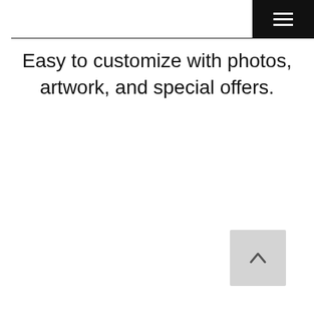[Figure (other): Black navigation bar with hamburger menu icon (three white horizontal lines) in top-right corner]
Easy to customize with photos, artwork, and special offers.
[Figure (other): Light grey scroll-to-top button with upward chevron arrow in bottom-right corner]